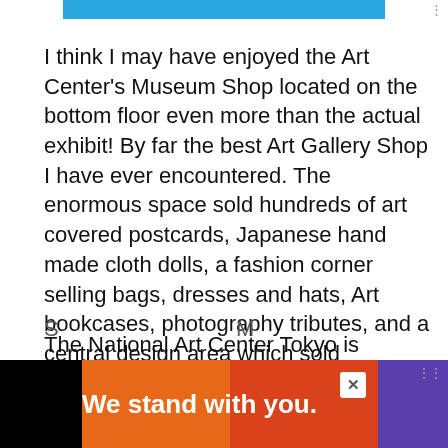I think I may have enjoyed the Art Center's Museum Shop located on the bottom floor even more than the actual exhibit! By far the best Art Gallery Shop I have ever encountered. The enormous space sold hundreds of art covered postcards, Japanese hand made cloth dolls, a fashion corner selling bags, dresses and hats, Art bookcases, photography tributes, and a central design area which sold everything from wacky chairs to Japanese robot dogs.
The National Art Center Tokyo is located on the Art Triangle Roppongi. The three Art Galleries located on this triangle are The Art Center Tokyo,
[Figure (infographic): Advertisement banner at bottom: 'We stand with you.' on colorful orange, red, purple, pink background with close button]